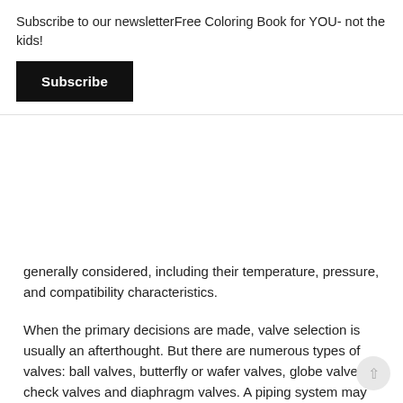Subscribe to our newsletterFree Coloring Book for YOU- not the kids!
Subscribe
generally considered, including their temperature, pressure, and compatibility characteristics.
When the primary decisions are made, valve selection is usually an afterthought. But there are numerous types of valves: ball valves, butterfly or wafer valves, globe valves, check valves and diaphragm valves. A piping system may contain many different types of valves, depending on their purpose.
Valve controls, however, are crucial for the successful operation of any system. Additionally, valves deserve much greater attention when considering material options, since the strength of any system depends on its weakest component or joint.